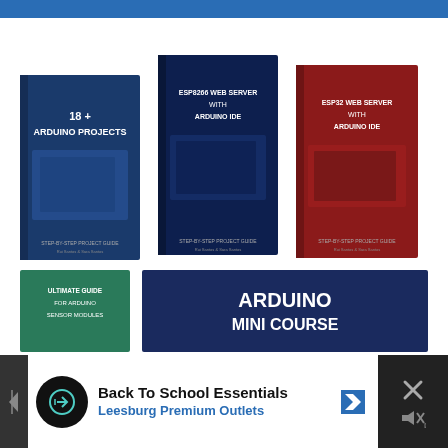[Figure (photo): Three book covers arranged side-by-side: '18+ Arduino Projects', 'ESP8266 Web Server with Arduino IDE', and 'ESP32 Web Server with Arduino IDE'. Below them are two more items: 'Ultimate Guide for Arduino Sensor Modules' (partially visible) and 'Arduino Mini Course' banner.]
[Figure (infographic): Advertisement banner at bottom: 'Back To School Essentials - Leesburg Premium Outlets' with a circular black logo/icon on the left, a blue navigation arrow on the right, and a close (X) button on the far right with a mute icon.]